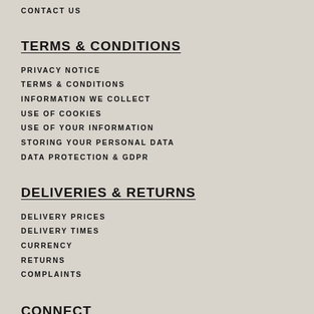CONTACT US
TERMS & CONDITIONS
PRIVACY NOTICE
TERMS & CONDITIONS
INFORMATION WE COLLECT
USE OF COOKIES
USE OF YOUR INFORMATION
STORING YOUR PERSONAL DATA
DATA PROTECTION & GDPR
DELIVERIES & RETURNS
DELIVERY PRICES
DELIVERY TIMES
CURRENCY
RETURNS
COMPLAINTS
CONNECT
[Figure (illustration): Facebook and Twitter social media icons in black square buttons]